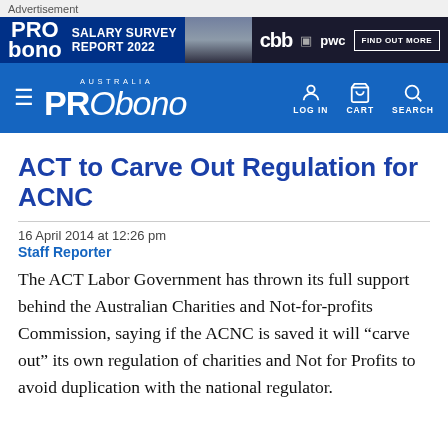Advertisement
[Figure (screenshot): Advertisement banner for Pro Bono Australia Salary Survey Report 2022, featuring CBB and PwC logos with a 'Find Out More' button]
[Figure (logo): Pro Bono Australia navigation bar with hamburger menu, logo, and LOG IN, CART, SEARCH icons]
ACT to Carve Out Regulation for ACNC
16 April 2014 at 12:26 pm
Staff Reporter
The ACT Labor Government has thrown its full support behind the Australian Charities and Not-for-profits Commission, saying if the ACNC is saved it will “carve out” its own regulation of charities and Not for Profits to avoid duplication with the national regulator.